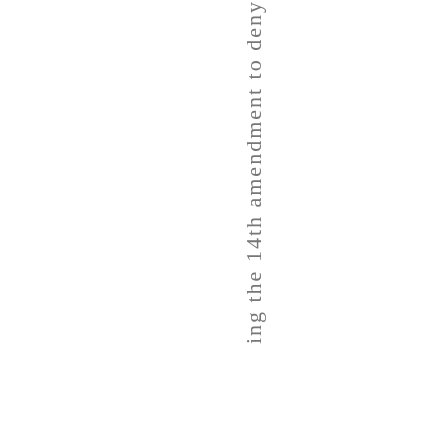ing the 14th amendment to deny